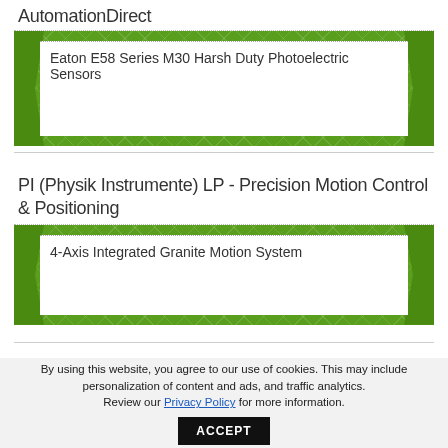AutomationDirect
Eaton E58 Series M30 Harsh Duty Photoelectric Sensors
PI (Physik Instrumente) LP - Precision Motion Control & Positioning
4-Axis Integrated Granite Motion System
By using this website, you agree to our use of cookies. This may include personalization of content and ads, and traffic analytics. Review our Privacy Policy for more information.